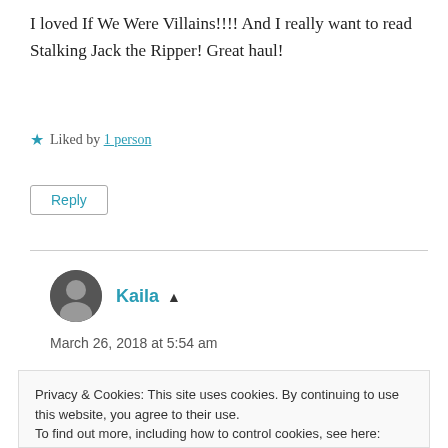I loved If We Were Villains!!!! And I really want to read Stalking Jack the Ripper! Great haul!
★ Liked by 1 person
Reply
Kaila ▲
March 26, 2018 at 5:54 am
Privacy & Cookies: This site uses cookies. By continuing to use this website, you agree to their use.
To find out more, including how to control cookies, see here: Privacy Policy
Close and accept
Reply